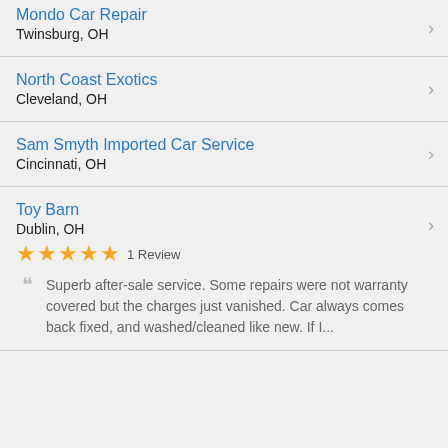Mondo Car Repair
Twinsburg, OH
North Coast Exotics
Cleveland, OH
Sam Smyth Imported Car Service
Cincinnati, OH
Toy Barn
Dublin, OH
★★★★★ 1 Review
Superb after-sale service. Some repairs were not warranty covered but the charges just vanished. Car always comes back fixed, and washed/cleaned like new. If I...